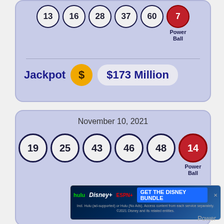[Figure (infographic): Powerball lottery card (top, partial) showing balls 13, 16, 28, 37, 60 and red Powerball 7, with Jackpot $173 Million]
Jackpot  $173 Million
[Figure (infographic): Powerball lottery card for November 10, 2021 showing balls 19, 25, 43, 46, 48 and red Powerball 14, PowerPlay 2 X]
November 10, 2021
PowerPlay 2 X
Double Play:
[Figure (screenshot): Disney Bundle advertisement banner: hulu Disney+ ESPN+ GET THE DISNEY BUNDLE. Incl. Hulu (ad-supported) or Hulu (No Ads). Access content from each service separately. ©2021 Disney and its related entities.]
Power